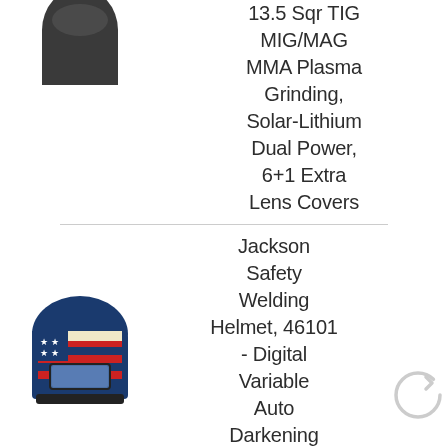[Figure (photo): Top portion of a dark welding helmet, cropped at top]
13.5 Sqr TIG MIG/MAG MMA Plasma Grinding, Solar-Lithium Dual Power, 6+1 Extra Lens Covers
[Figure (photo): Jackson Safety welding helmet with American flag (stars and stripes) design, blue/red/white colors]
Jackson Safety Welding Helmet, 46101 - Digital Variable Auto Darkening Filter, Lightweight Protective
[Figure (other): Circular refresh/reload icon in light gray]